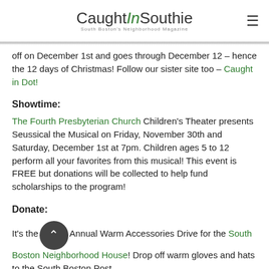CaughtInSouthie — South Boston's Neighborhood Magazine
off on December 1st and goes through December 12 – hence the 12 days of Christmas! Follow our sister site too – Caught in Dot!
Showtime:
The Fourth Presbyterian Church Children's Theater presents Seussical the Musical on Friday, November 30th and Saturday, December 1st at 7pm. Children ages 5 to 12 perform all your favorites from this musical! This event is FREE but donations will be collected to help fund scholarships to the program!
Donate:
It's the [scroll button] Annual Warm Accessories Drive for the South Boston Neighborhood House! Drop off warm gloves and hats to the South Boston Post